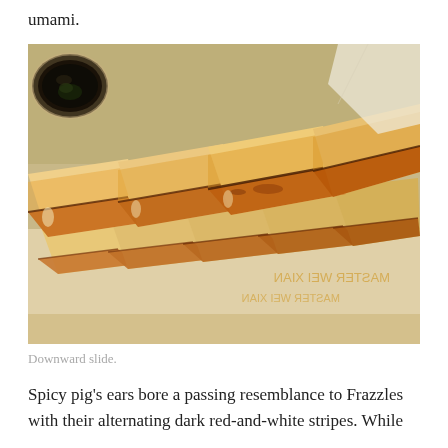umami.
[Figure (photo): Close-up photograph of pan-fried dumplings (gyoza/potstickers) arranged in a row, with golden-brown crispy bottoms, resting on paper with 'MASTER WEI XIAN' text visible underneath. A small bowl of dark dipping sauce is visible in the upper left.]
Downward slide.
Spicy pig's ears bore a passing resemblance to Frazzles with their alternating dark red-and-white stripes. While